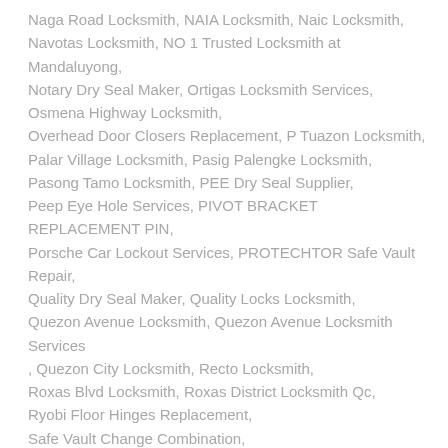Naga Road Locksmith, NAIA Locksmith, Naic Locksmith, Navotas Locksmith, NO 1 Trusted Locksmith at Mandaluyong, Notary Dry Seal Maker, Ortigas Locksmith Services, Osmena Highway Locksmith, Overhead Door Closers Replacement, P Tuazon Locksmith, Palar Village Locksmith, Pasig Palengke Locksmith, Pasong Tamo Locksmith, PEE Dry Seal Supplier, Peep Eye Hole Services, PIVOT BRACKET REPLACEMENT PIN, Porsche Car Lockout Services, PROTECHTOR Safe Vault Repair, Quality Dry Seal Maker, Quality Locks Locksmith, Quezon Avenue Locksmith, Quezon Avenue Locksmith Services , Quezon City Locksmith, Recto Locksmith, Roxas Blvd Locksmith, Roxas District Locksmith Qc, Ryobi Floor Hinges Replacement, Safe Vault Change Combination, Safe Vault Lost Combination Services, Safe Vault Opening Services, Safe Vault Repair, Safe Vault Repair Services, Safewell Safe Vault Repair Services,